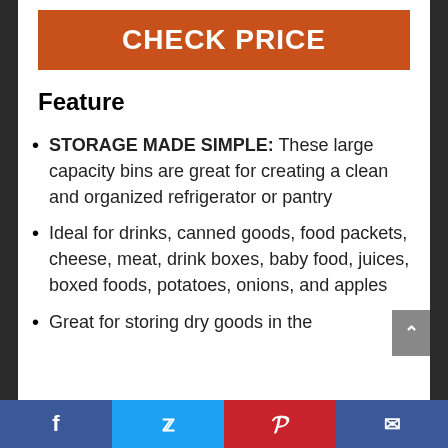CHECK PRICE
Feature
STORAGE MADE SIMPLE: These large capacity bins are great for creating a clean and organized refrigerator or pantry
Ideal for drinks, canned goods, food packets, cheese, meat, drink boxes, baby food, juices, boxed foods, potatoes, onions, and apples
Great for storing dry goods in the
Facebook | Twitter | Pinterest | Email